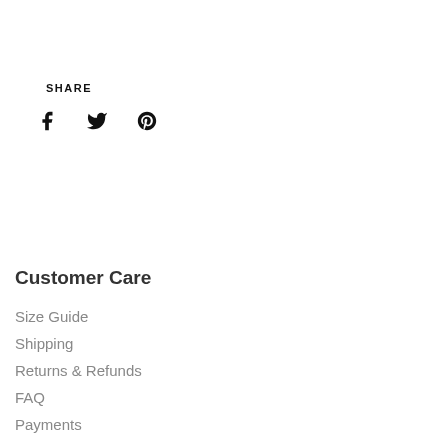SHARE
[Figure (other): Social share icons: Facebook (f), Twitter (bird), Pinterest (p)]
Customer Care
Size Guide
Shipping
Returns & Refunds
FAQ
Payments